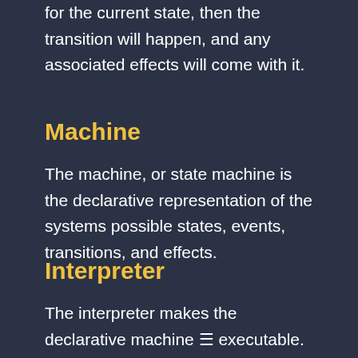for the current state, then the transition will happen, and any associated effects will come with it.
Machine
The machine, or state machine is the declarative representation of the systems possible states, events, transitions, and effects.
Interpreter
The interpreter makes the declarative machine ☰ executable. It tracks the current state of the machine instance and handles transitioning in